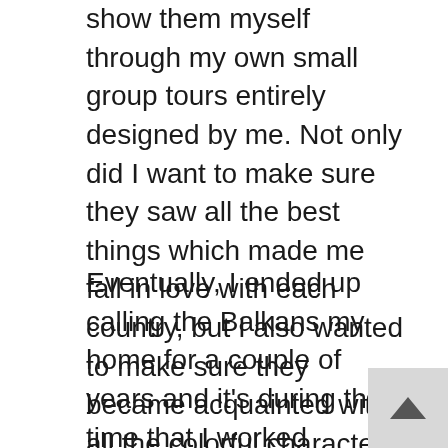show them myself through my own small group tours entirely designed by me. Not only did I want to make sure they saw all the best things which made me fall in love with each country, but I also wanted to make sure they became acquainted with all the colorful characters I had met along my own travels – both those officially working in tourism and local legends not working in tourism – who I knew would give them the best insight into each destination and make it truly memorable. After all, it's the people that makes the Balkans such a special place…
Eventually, I ended up calling the Balkans my home for a couple of years and it's during that time that I worked intensively with tourism development around the region and got acquainted with the best in the business in each country. From government officials and local tourism boards to Orthodox monks and taxi drivers,